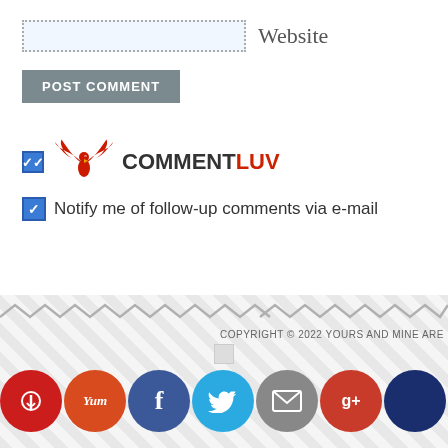Website
POST COMMENT
[Figure (logo): CommentLuv logo with red eagle/phoenix wings icon and COMMENTLUV text (COMMENT in dark, LUV in red)]
Notify me of follow-up comments via e-mail
[Figure (other): Zigzag/wavy grey divider line]
COPYRIGHT © 2022 YOURS AND MINE ARE
[Figure (other): Social media icons row: Pinterest (red), Yummly (orange), Facebook (blue), Twitter (light blue), Email (grey), Google+ (red), another (dark blue)]